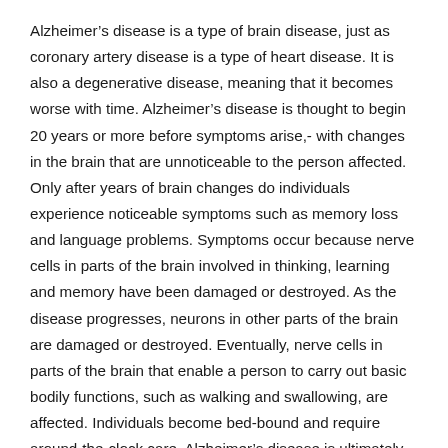Alzheimer's disease is a type of brain disease, just as coronary artery disease is a type of heart disease. It is also a degenerative disease, meaning that it becomes worse with time. Alzheimer's disease is thought to begin 20 years or more before symptoms arise,- with changes in the brain that are unnoticeable to the person affected. Only after years of brain changes do individuals experience noticeable symptoms such as memory loss and language problems. Symptoms occur because nerve cells in parts of the brain involved in thinking, learning and memory have been damaged or destroyed. As the disease progresses, neurons in other parts of the brain are damaged or destroyed. Eventually, nerve cells in parts of the brain that enable a person to carry out basic bodily functions, such as walking and swallowing, are affected. Individuals become bed-bound and require around-the-clock care. Alzheimer's disease is ultimately fatal.